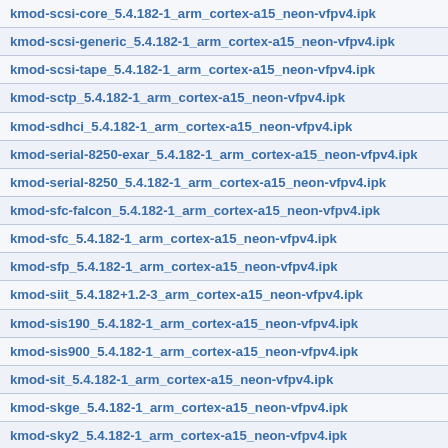kmod-scsi-core_5.4.182-1_arm_cortex-a15_neon-vfpv4.ipk
kmod-scsi-generic_5.4.182-1_arm_cortex-a15_neon-vfpv4.ipk
kmod-scsi-tape_5.4.182-1_arm_cortex-a15_neon-vfpv4.ipk
kmod-sctp_5.4.182-1_arm_cortex-a15_neon-vfpv4.ipk
kmod-sdhci_5.4.182-1_arm_cortex-a15_neon-vfpv4.ipk
kmod-serial-8250-exar_5.4.182-1_arm_cortex-a15_neon-vfpv4.ipk
kmod-serial-8250_5.4.182-1_arm_cortex-a15_neon-vfpv4.ipk
kmod-sfc-falcon_5.4.182-1_arm_cortex-a15_neon-vfpv4.ipk
kmod-sfc_5.4.182-1_arm_cortex-a15_neon-vfpv4.ipk
kmod-sfp_5.4.182-1_arm_cortex-a15_neon-vfpv4.ipk
kmod-siit_5.4.182+1.2-3_arm_cortex-a15_neon-vfpv4.ipk
kmod-sis190_5.4.182-1_arm_cortex-a15_neon-vfpv4.ipk
kmod-sis900_5.4.182-1_arm_cortex-a15_neon-vfpv4.ipk
kmod-sit_5.4.182-1_arm_cortex-a15_neon-vfpv4.ipk
kmod-skge_5.4.182-1_arm_cortex-a15_neon-vfpv4.ipk
kmod-sky2_5.4.182-1_arm_cortex-a15_neon-vfpv4.ipk
kmod-slhc_5.4.182-1_arm_cortex-a15_neon-vfpv4.ipk
kmod-slip_5.4.182-1_arm_cortex-a15_neon-vfpv4.ipk
kmod-softdog_5.4.182-1_arm_cortex-a15_neon-vfpv4.ipk
kmod-solos-pci_5.4.182-1_arm_cortex-a15_neon-vfpv4.ipk